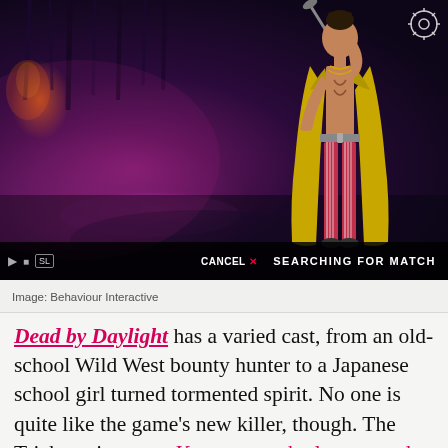[Figure (screenshot): Dead by Daylight video game screenshot showing a character with yellow coat and striped pants holding a bat, set in a dark purple atmospheric environment. HUD shows 'CANCEL' and 'SEARCHING FOR MATCH' text at bottom right.]
Image: Behaviour Interactive
Dead by Daylight has a varied cast, from an old-school Wild West bounty hunter to a Japanese school girl turned tormented spirit. No one is quite like the game’s new killer, though. The Trickster is a sexy K-pop star who loves murder more than he loves music, and he looks like he’s ready to perform. Unlike the